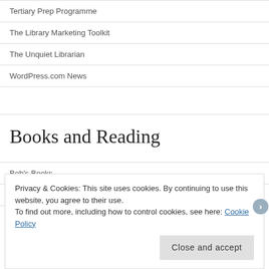Tertiary Prep Programme
The Library Marketing Toolkit
The Unquiet Librarian
WordPress.com News
Books and Reading
Bob's Books
Book Trailers for Kids and Young Adults
Privacy & Cookies: This site uses cookies. By continuing to use this website, you agree to their use.
To find out more, including how to control cookies, see here: Cookie Policy
Close and accept